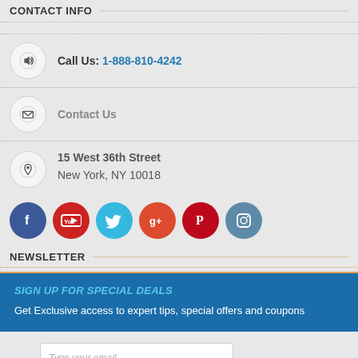CONTACT INFO
Call Us: 1-888-810-4242
Contact Us
15 West 36th Street
New York, NY 10018
[Figure (infographic): Row of six social media icon circles: Facebook (dark blue), YouTube (red), Twitter (cyan), Google+ (orange-red), Pinterest (red), Instagram (gray-blue)]
NEWSLETTER
SIGN UP FOR SPECIAL DEALS
Get Exclusive access to expert tips, special offers and coupons
Type your email